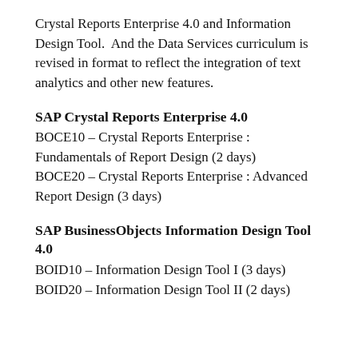Crystal Reports Enterprise 4.0 and Information Design Tool.  And the Data Services curriculum is revised in format to reflect the integration of text analytics and other new features.
SAP Crystal Reports Enterprise 4.0
BOCE10 – Crystal Reports Enterprise : Fundamentals of Report Design (2 days)
BOCE20 – Crystal Reports Enterprise : Advanced Report Design (3 days)
SAP BusinessObjects Information Design Tool 4.0
BOID10 – Information Design Tool I (3 days)
BOID20 – Information Design Tool II (2 days)